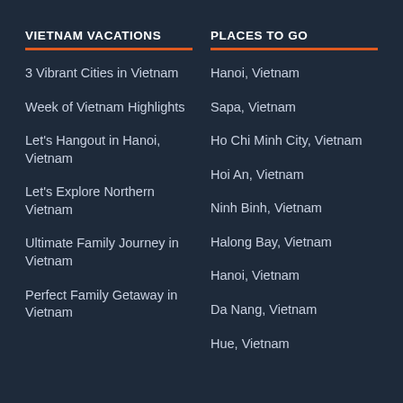VIETNAM VACATIONS
3 Vibrant Cities in Vietnam
Week of Vietnam Highlights
Let's Hangout in Hanoi, Vietnam
Let's Explore Northern Vietnam
Ultimate Family Journey in Vietnam
Perfect Family Getaway in Vietnam
PLACES TO GO
Hanoi, Vietnam
Sapa, Vietnam
Ho Chi Minh City, Vietnam
Hoi An, Vietnam
Ninh Binh, Vietnam
Halong Bay, Vietnam
Hanoi, Vietnam
Da Nang, Vietnam
Hue, Vietnam